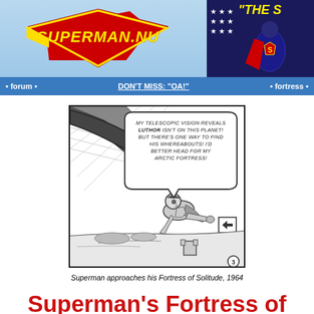SUPERMAN.NU | THE S...
• forum • DON'T MISS: "OA!" • fortress •
[Figure (illustration): Black and white comic panel showing Superman flying toward his Arctic Fortress of Solitude, with a speech bubble reading: MY TELESCOPIC VISION REVEALS LUTHOR ISN'T ON THIS PLANET! BUT THERE'S ONE WAY TO FIND HIS WHEREABOUTS! I'D BETTER HEAD FOR MY ARCTIC FORTRESS!]
Superman approaches his Fortress of Solitude, 1964
Superman's Fortress of